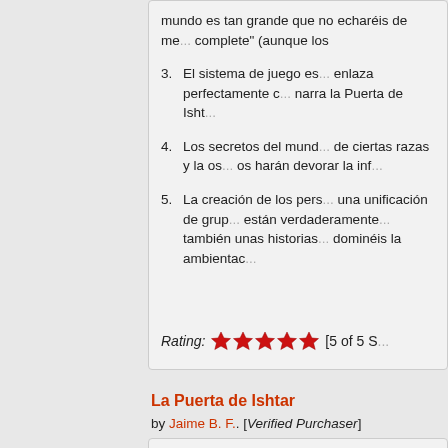mundo es tan grande que no echaréis de menos la sensación de 'no complete' (aunque los
3. El sistema de juego es... enlaza perfectamente con narra la Puerta de Isht...
4. Los secretos del mundo... de ciertas razas y la os... os harán devorar la inf...
5. La creación de los pers... una unificación de grup... están verdaderamente... también unas historias... dominéis la ambientac...
Rating: [5 of 5 S...
La Puerta de Ishtar
by Jaime B. F. [Verified Purchaser]
Uno de los pocos juegos que a... estético de la más antigua civi... transformándola en el entorno... aventuras de fantasía oscura i...